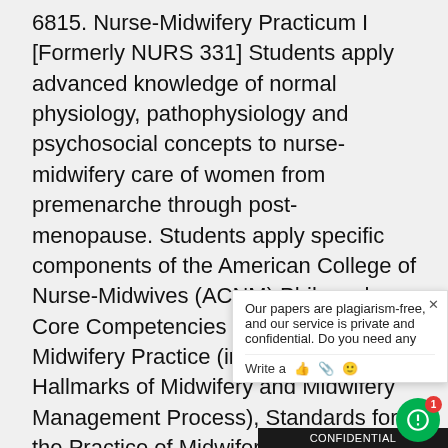6815. Nurse-Midwifery Practicum I [Formerly NURS 331] Students apply advanced knowledge of normal physiology, pathophysiology and psychosocial concepts to nurse-midwifery care of women from premenarche through post-menopause. Students apply specific components of the American College of Nurse-Midwives (ACNM) Philosophy, Core Competencies for Basic Midwifery Practice (including the Hallmarks of Midwifery and Midwifery Management Process), Standards for the Practice of Midwifery, and the Code of Ethics to women from peri-menarche through post-menopause including primary care, preconceptional, antepartal, and interconceptional periods. Clinical experience is under the supervision of nurse-midwife, nurse practitioner, or physician preceptors in various settings. Students have the opportunity to identify, discuss risk management and ethical issues inherent in clinical practice. This course uses content on women's health and preconception from N6810 and physiology